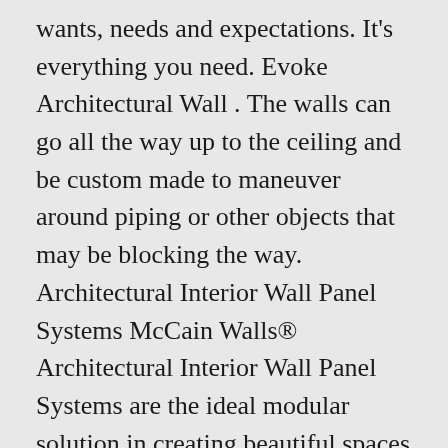wants, needs and expectations. It's everything you need. Evoke Architectural Wall . The walls can go all the way up to the ceiling and be custom made to maneuver around piping or other objects that may be blocking the way. Architectural Interior Wall Panel Systems McCain Walls® Architectural Interior Wall Panel Systems are the ideal modular solution in creating beautiful spaces in a matter of hours. 5. Recent Photos Commons Getty Collection â ¦ Painting Walls Mobile Trailer Home . A wide variety of prefab interior walls options are available to you, such as graphic design, others, and total solution for projects. Stockholm - Urban Wall Interior Wall Covering Wall Treatments. 4,345 prefab interior walls